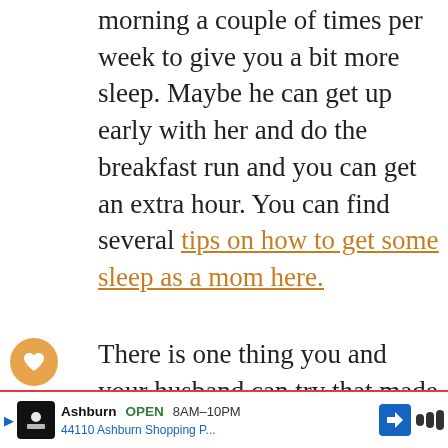morning a couple of times per week to give you a bit more sleep. Maybe he can get up early with her and do the breakfast run and you can get an extra hour. You can find several tips on how to get some sleep as a mom here.
There is one thing you and your husband can try that made our daughter go from waking up every maybe once per night in only three nights. Admittedly she was a bit
[Figure (other): What's Next navigation widget showing 'What to Do When 9-...' with a thumbnail image of a baby]
[Figure (other): Advertisement bar: Ashburn OPEN 8AM-10PM, 44110 Ashburn Shopping P...]